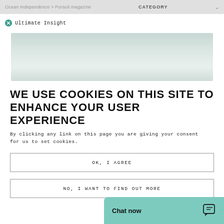Ocean Independence > Pursuit magazine | CATEGORY
Ultimate Insight
[Figure (photo): Blurred/faded seascape or waterscape hero image with pale teal and grey tones]
WE USE COOKIES ON THIS SITE TO ENHANCE YOUR USER EXPERIENCE
By clicking any link on this page you are giving your consent for us to set cookies.
OK, I AGREE
NO, I WANT TO FIND OUT MORE
Chat now